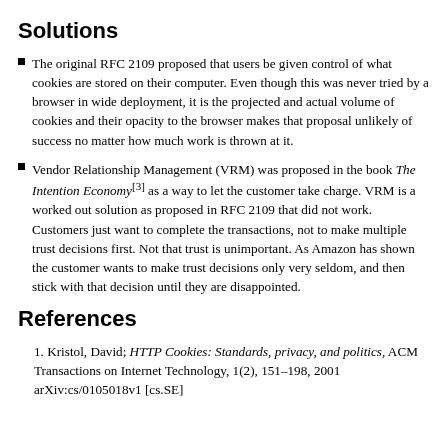Solutions
The original RFC 2109 proposed that users be given control of what cookies are stored on their computer. Even though this was never tried by a browser in wide deployment, it is the projected and actual volume of cookies and their opacity to the browser makes that proposal unlikely of success no matter how much work is thrown at it.
Vendor Relationship Management (VRM) was proposed in the book The Intention Economy[3] as a way to let the customer take charge. VRM is a worked out solution as proposed in RFC 2109 that did not work. Customers just want to complete the transactions, not to make multiple trust decisions first. Not that trust is unimportant. As Amazon has shown the customer wants to make trust decisions only very seldom, and then stick with that decision until they are disappointed.
References
Kristol, David; HTTP Cookies: Standards, privacy, and politics, ACM Transactions on Internet Technology, 1(2), 151–198, 2001 arXiv:cs/0105018v1 [cs.SE].